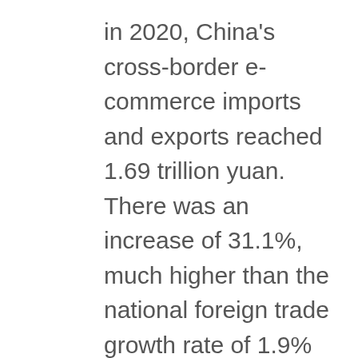in 2020, China's cross-border e-commerce imports and exports reached 1.69 trillion yuan. There was an increase of 31.1%, much higher than the national foreign trade growth rate of 1.9% during the same period. Among them, exports reached 1.12 trillion yuan, which has increased 40.1%, while imports reached 0.57 trillion yuan with an increase of 16.5%. As an emerging trade model, cross-border e-commerce during the epidemic soared and has become a significant force in stabilizing foreign trade. Almost all the industries with the